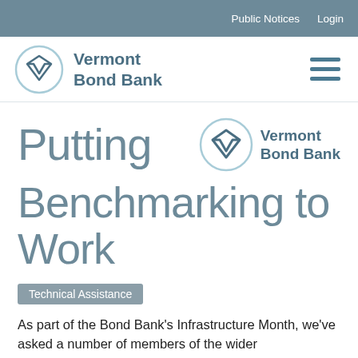Public Notices   Login
[Figure (logo): Vermont Bond Bank logo in header — circle with V chevron mark and text 'Vermont Bond Bank']
Putting Vermont Bond Bank Benchmarking to Work
[Figure (logo): Vermont Bond Bank inline logo — circle with V chevron mark and text 'Vermont Bond Bank']
Technical Assistance
As part of the Bond Bank's Infrastructure Month, we've asked a number of members of the wider